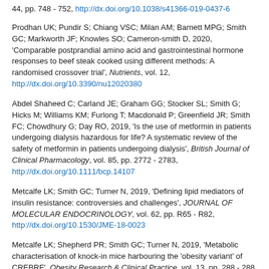44, pp. 748 - 752, http://dx.doi.org/10.1038/s41366-019-0437-6
Prodhan UK; Pundir S; Chiang VSC; Milan AM; Barnett MPG; Smith GC; Markworth JF; Knowles SO; Cameron-smith D, 2020, 'Comparable postprandial amino acid and gastrointestinal hormone responses to beef steak cooked using different methods: A randomised crossover trial', Nutrients, vol. 12, http://dx.doi.org/10.3390/nu12020380
Abdel Shaheed C; Carland JE; Graham GG; Stocker SL; Smith G; Hicks M; Williams KM; Furlong T; Macdonald P; Greenfield JR; Smith FC; Chowdhury G; Day RO, 2019, 'Is the use of metformin in patients undergoing dialysis hazardous for life? A systematic review of the safety of metformin in patients undergoing dialysis', British Journal of Clinical Pharmacology, vol. 85, pp. 2772 - 2783, http://dx.doi.org/10.1111/bcp.14107
Metcalfe LK; Smith GC; Turner N, 2019, 'Defining lipid mediators of insulin resistance: controversies and challenges', JOURNAL OF MOLECULAR ENDOCRINOLOGY, vol. 62, pp. R65 - R82, http://dx.doi.org/10.1530/JME-18-0023
Metcalfe LK; Shepherd PR; Smith GC; Turner N, 2019, 'Metabolic characterisation of knock-in mice harbouring the 'obesity variant' of CREBRF', Obesity Research & Clinical Practice, vol. 13, pp. 288 - 288, http://dx.doi.org/10.1016/j.orcp.2018.11.154
Larsen PS; Donges CE; Guelfi KJ; Smith GC; Adams DR; Duffield R,